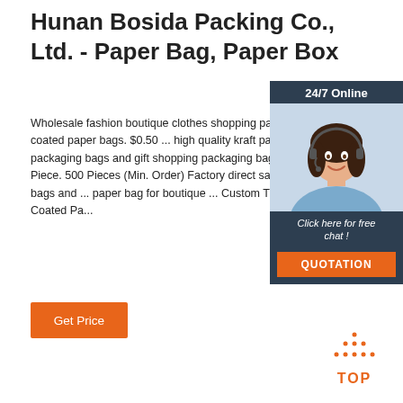Hunan Bosida Packing Co., Ltd. - Paper Bag, Paper Box
Wholesale fashion boutique clothes shopping packaging bag and coated paper bags. $0.50 ... high quality kraft paper clothing packaging bags and gift shopping packaging bags. $0.50 - $1.00 Piece. 500 Pieces (Min. Order) Factory direct sale creative paper bags and ... paper bag for boutique ... Custom Thank You Sticker Coated Pa...
[Figure (other): Orange 'Get Price' button]
[Figure (other): Chat widget overlay with '24/7 Online' header, photo of woman with headset, 'Click here for free chat!' text, and orange QUOTATION button]
[Figure (other): Orange 'TOP' button with dotted triangle icon above, used for scrolling back to top of page]